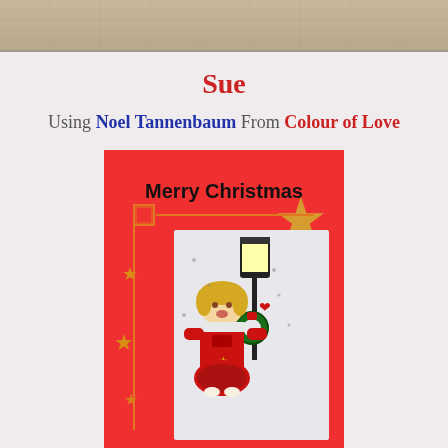[Figure (photo): Partial photo at top of page showing a textured fabric or surface, cropped]
Sue
Using Noel Tannenbaum From Colour of Love
[Figure (photo): Christmas card craft project featuring a cartoon girl holding a wreath next to a lamp post, red background with gold stars, 'Merry Christmas' text on the card]